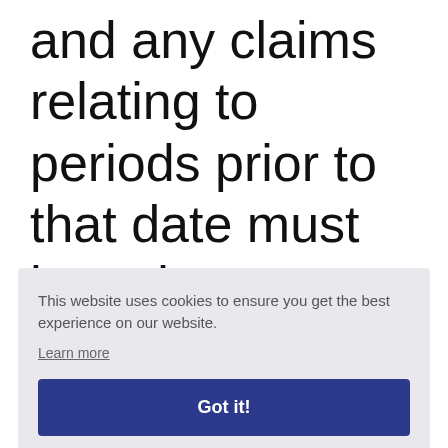and any claims relating to periods prior to that date must have been
This website uses cookies to ensure you get the best experience on our website.
Learn more
Got it!
the i t